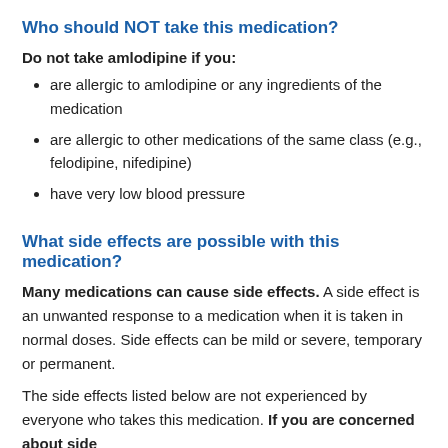Who should NOT take this medication?
Do not take amlodipine if you:
are allergic to amlodipine or any ingredients of the medication
are allergic to other medications of the same class (e.g., felodipine, nifedipine)
have very low blood pressure
What side effects are possible with this medication?
Many medications can cause side effects. A side effect is an unwanted response to a medication when it is taken in normal doses. Side effects can be mild or severe, temporary or permanent.
The side effects listed below are not experienced by everyone who takes this medication. If you are concerned about side